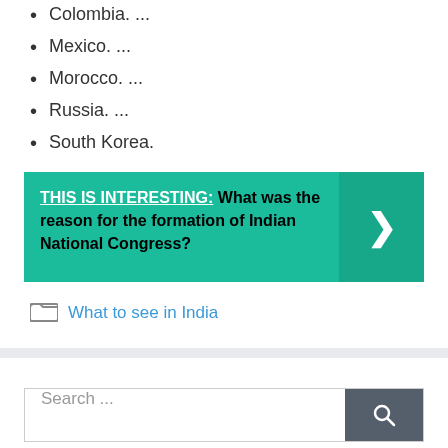Colombia. ...
Mexico. ...
Morocco. ...
Russia. ...
South Korea.
[Figure (infographic): Green banner with text 'THIS IS INTERESTING: What was the reason for the formation of Indian National Congress?' and a right-arrow chevron button on the right side.]
What to see in India
Search ...